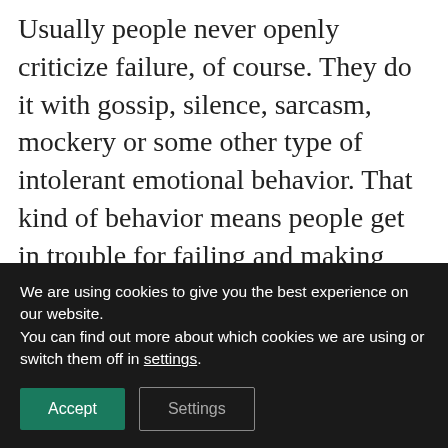Usually people never openly criticize failure, of course. They do it with gossip, silence, sarcasm, mockery or some other type of intolerant emotional behavior. That kind of behavior means people get in trouble for failing and making mistakes.
A whole different thing is if you show curiosity for why something didn't work, if you're interested in what has been learnt and in the new ideas for how
We are using cookies to give you the best experience on our website.
You can find out more about which cookies we are using or switch them off in settings.